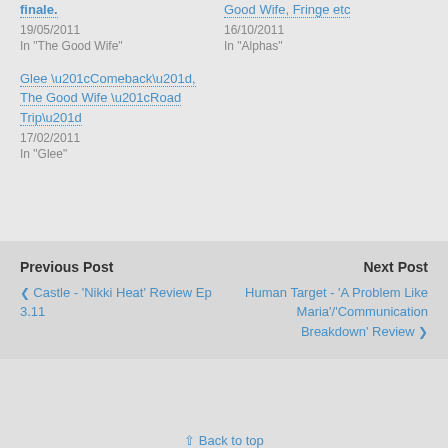finale.
19/05/2011
In "The Good Wife"
Good Wife, Fringe etc
16/10/2011
In "Alphas"
Glee “Comeback”, The Good Wife “Road Trip”
17/02/2011
In "Glee"
Previous Post
Castle - 'Nikki Heat' Review Ep 3.11
Next Post
Human Target - 'A Problem Like Maria'/'Communication Breakdown' Review
Back to top